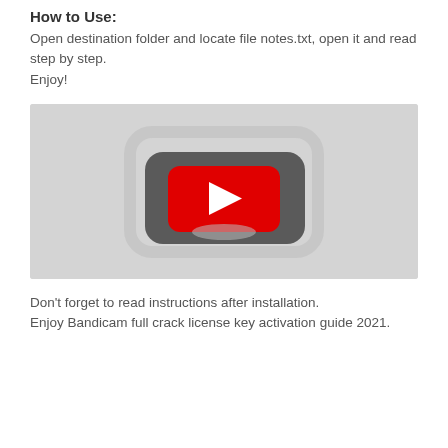How to Use:
Open destination folder and locate file notes.txt, open it and read step by step.
Enjoy!
[Figure (screenshot): YouTube-style video player thumbnail showing a gray background with a dark rounded-rectangle YouTube play button icon (red rectangle with white play triangle) in the center.]
Don't forget to read instructions after installation.
Enjoy Bandicam full crack license key activation guide 2021.